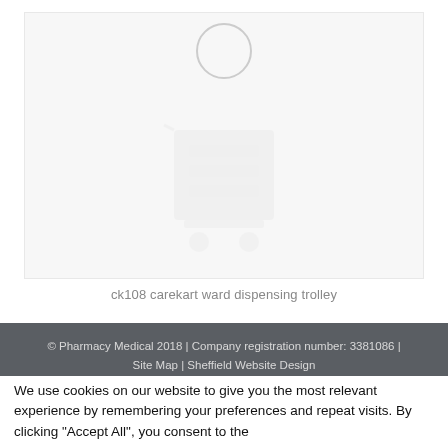[Figure (photo): Loading spinner circle at top of image area with faint product image silhouette of a ward dispensing trolley visible in background. Image is in a light grey box indicating content still loading.]
ck108 carekart ward dispensing trolley
© Pharmacy Medical 2018 | Company registration number: 3381086 | Site Map | Sheffield Website Design
[Figure (other): Payment method icons: debit/credit card logos including Mastercard, Visa, and another card type, partially visible]
We use cookies on our website to give you the most relevant experience by remembering your preferences and repeat visits. By clicking "Accept All", you consent to the